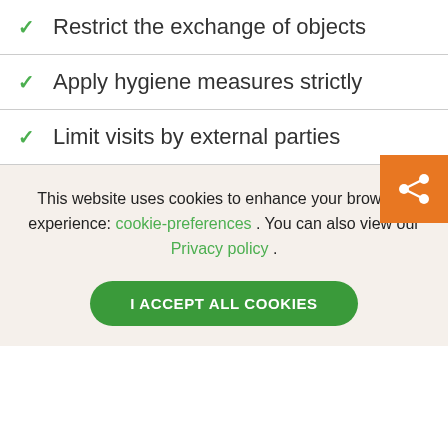Restrict the exchange of objects
Apply hygiene measures strictly
Limit visits by external parties
This website uses cookies to enhance your browsing experience: cookie-preferences . You can also view our Privacy policy .
I ACCEPT ALL COOKIES